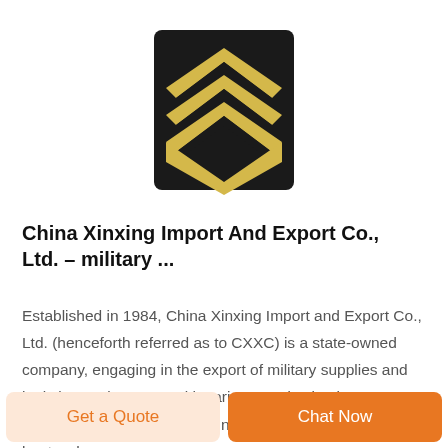[Figure (illustration): Military chevron rank insignia patch with three gold/yellow stripes on black background, chevron shape pointing downward]
China Xinxing Import And Export Co., Ltd. – military ...
Established in 1984, China Xinxing Import and Export Co., Ltd. (henceforth referred as to CXXC) is a state-owned company, engaging in the export of military supplies and logistics equipments. With various production bases, CXXC can produce military uniforms and its accessories, boots, shoes,